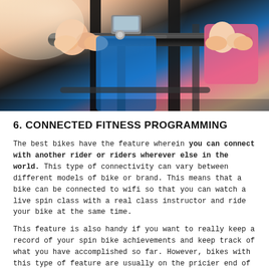[Figure (photo): Close-up photo of people riding spin bikes in a gym, showing handlebars, hands gripping them, and riders wearing colorful workout clothing.]
6. CONNECTED FITNESS PROGRAMMING
The best bikes have the feature wherein you can connect with another rider or riders wherever else in the world. This type of connectivity can vary between different models of bike or brand. This means that a bike can be connected to wifi so that you can watch a live spin class with a real class instructor and ride your bike at the same time.
This feature is also handy if you want to really keep a record of your spin bike achievements and keep track of what you have accomplished so far. However, bikes with this type of feature are usually on the pricier end of the spin bike spectrum.